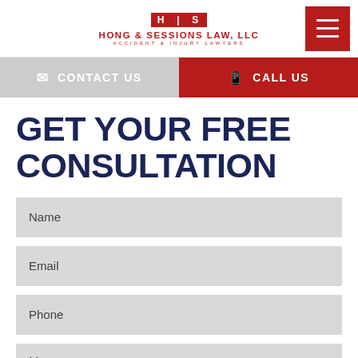[Figure (logo): Hong & Sessions Law, LLC logo with H|S badge in red and text ACCIDENT & INJURY LAWYERS]
GET YOUR FREE CONSULTATION
Name
Email
Phone
Message